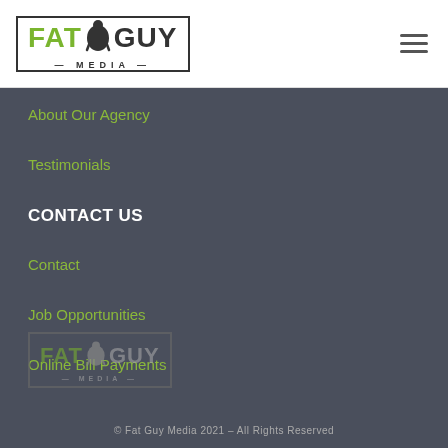[Figure (logo): Fat Guy Media logo with green FAT text, silhouette icon, dark GUY text, and MEDIA subtext, enclosed in a rectangular border]
[Figure (other): Hamburger menu icon with three horizontal lines]
About Our Agency
Testimonials
CONTACT US
Contact
Job Opportunities
Online Bill Payments
[Figure (logo): Fat Guy Media logo (dimmed version) in footer area]
© Fat Guy Media 2021 – All Rights Reserved